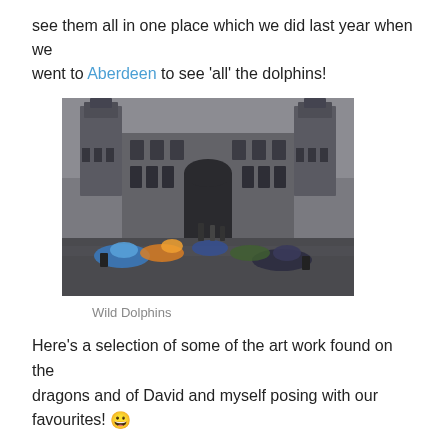see them all in one place which we did last year when we went to Aberdeen to see 'all' the dolphins!
[Figure (photo): Photograph of a historic stone building courtyard in Aberdeen with colorful dolphin sculptures arranged on the wet pavement in front of a large archway entrance, on a grey overcast day.]
Wild Dolphins
Here's a selection of some of the art work found on the dragons and of David and myself posing with our favourites! 😀